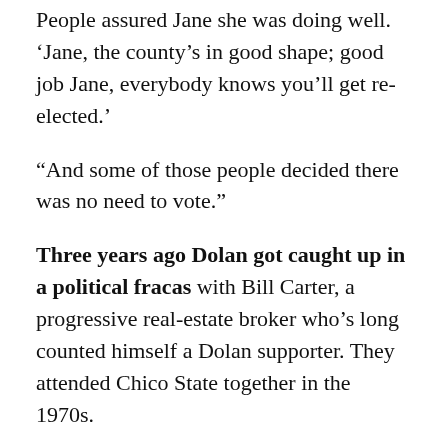People assured Jane she was doing well. ‘Jane, the county’s in good shape; good job Jane, everybody knows you’ll get re-elected.’
“And some of those people decided there was no need to vote.”
Three years ago Dolan got caught up in a political fracas with Bill Carter, a progressive real-estate broker who’s long counted himself a Dolan supporter. They attended Chico State together in the 1970s.